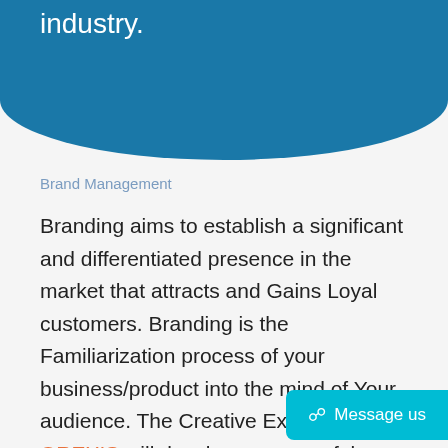industry.
Brand Management
Branding aims to establish a significant and differentiated presence in the market that attracts and Gains Loyal customers. Branding is the Familiarization process of your business/product into the mind of Your audience. The Creative Experts from OREXIS will develop a successful strategy to manage your brand presence in the industry and to increase the brand value of your business/Product. Brand management helps you to give more brand awareness to the public and